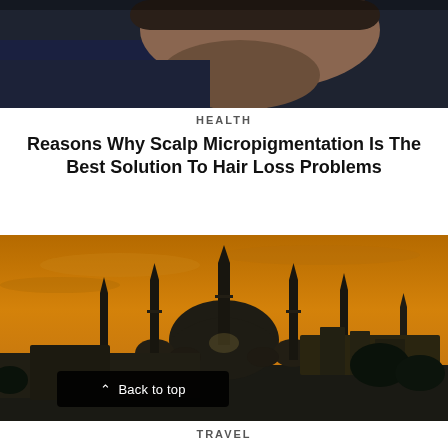[Figure (photo): Close-up photo of a man's face/shoulder, dark background, partial view cropped at top]
HEALTH
Reasons Why Scalp Micropigmentation Is The Best Solution To Hair Loss Problems
[Figure (photo): Photo of the Blue Mosque (Sultan Ahmed Mosque) in Istanbul at sunset with orange/golden sky, multiple minarets silhouetted against the sky]
TRAVEL